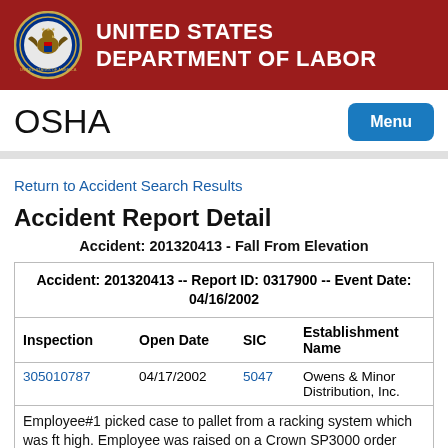UNITED STATES DEPARTMENT OF LABOR
OSHA
Return to Accident Search Results
Accident Report Detail
Accident: 201320413 - Fall From Elevation
| Inspection | Open Date | SIC | Establishment Name |
| --- | --- | --- | --- |
| 305010787 | 04/17/2002 | 5047 | Owens & Minor Distribution, Inc. |
Employee#1 picked case to pallet from a racking system which was ft high. Employee was raised on a Crown SP3000 order picker